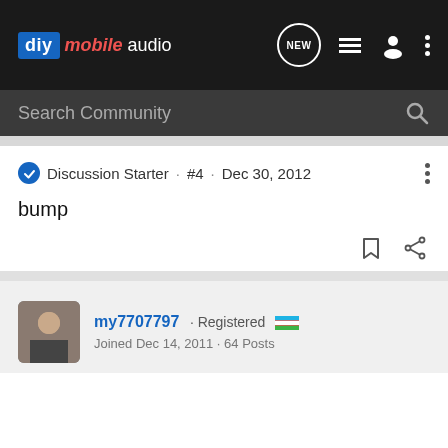diy mobile audio — navigation bar with NEW, list, user, and menu icons
Search Community
Discussion Starter · #4 · Dec 30, 2012
bump
my7707797 · Registered
Joined Dec 14, 2011 · 64 Posts